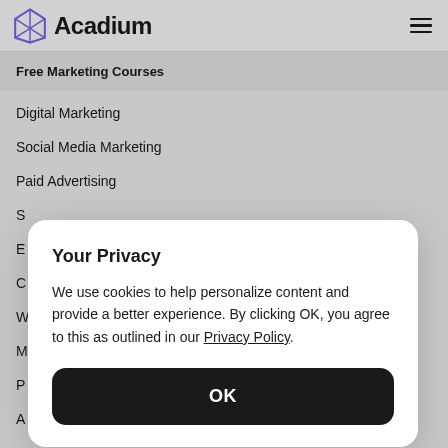Acadium
Free Marketing Courses
Digital Marketing
Social Media Marketing
Paid Advertising
S…
E…
C…
W…
M…
P…
A…
In…
Creating Career Opportunities
Your Privacy
We use cookies to help personalize content and provide a better experience. By clicking OK, you agree to this as outlined in our Privacy Policy.
OK